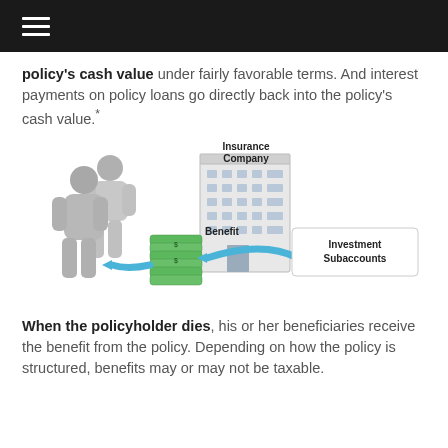policy's cash value under fairly favorable terms. And interest payments on policy loans go directly back into the policy's cash value.*
[Figure (infographic): Diagram showing two gray human figures on the left with an arrow labeled 'Benefit' pointing left from a stack of green money, a large building labeled 'Insurance Company' in the center, and a box labeled 'Investment Subaccounts' on the right with a blue arrow pointing left to the money stack and another blue arrow pointing right from the money stack back.]
When the policyholder dies, his or her beneficiaries receive the benefit from the policy. Depending on how the policy is structured, benefits may or may not be taxable.